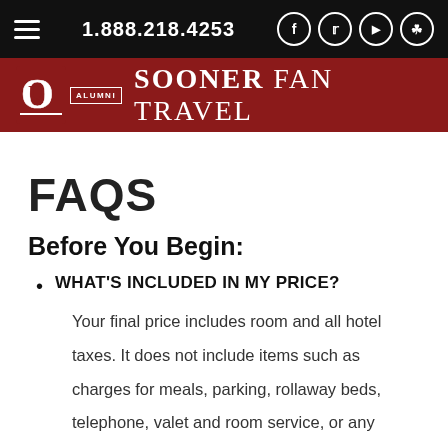1.888.218.4253
[Figure (logo): OU Alumni Sooner Fan Travel logo on dark red banner]
FAQS
Before You Begin:
WHAT'S INCLUDED IN MY PRICE?
Your final price includes room and all hotel taxes. It does not include items such as charges for meals, parking, rollaway beds, telephone, valet and room service, or any